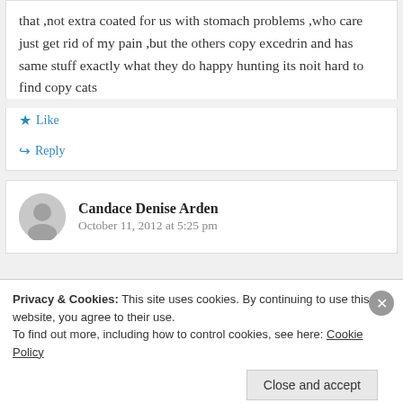that ,not extra coated for us with stomach problems ,who care just get rid of my pain ,but the others copy excedrin and has same stuff exactly what they do happy hunting its noit hard to find copy cats
Like
Reply
Candace Denise Arden
October 11, 2012 at 5:25 pm
Privacy & Cookies: This site uses cookies. By continuing to use this website, you agree to their use.
To find out more, including how to control cookies, see here: Cookie Policy
Close and accept